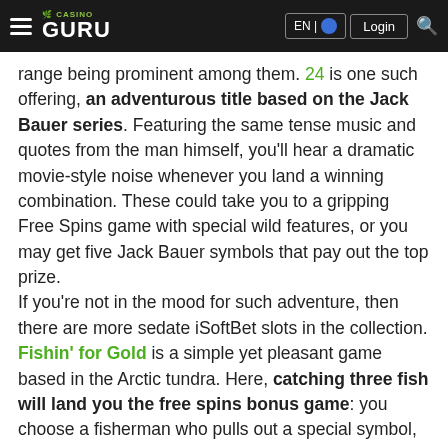Casino Guru | EN | Login
range being prominent among them. 24 is one such offering, an adventurous title based on the Jack Bauer series. Featuring the same tense music and quotes from the man himself, you'll hear a dramatic movie-style noise whenever you land a winning combination. These could take you to a gripping Free Spins game with special wild features, or you may get five Jack Bauer symbols that pay out the top prize.
If you're not in the mood for such adventure, then there are more sedate iSoftBet slots in the collection. Fishin' for Gold is a simple yet pleasant game based in the Arctic tundra. Here, catching three fish will land you the free spins bonus game: you choose a fisherman who pulls out a special symbol, and this symbol is classed as wild during the game. Three of anything other symbol will net you a nice cash prize. The game chugs along pleasingly, with a light and